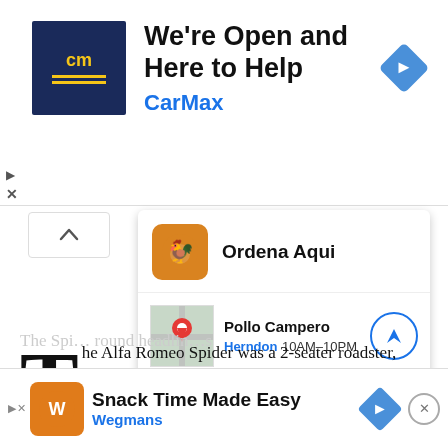[Figure (screenshot): CarMax advertisement banner with logo, headline 'We're Open and Here to Help', brand name 'CarMax' in blue, and navigation arrow icon]
[Figure (screenshot): Pollo Campero map popup card with 'Ordena Aqui' button, restaurant name, location 'Herndon', hours '10AM-10PM', and navigation button]
The Alfa Romeo Spider was a 2-seater roadster, introduced in 1995 as a replacement to the classic Alfa Romeo Spider, which had been produced from 1966 to 1993 (the one Dustin Hoffman drove in the movie The Graduate). It was the open-top version of the Alfa Romeo GTV, both were based on the front-wheel drive platform of the Alfa Romeo 155, and equipped with four-cylinder or V6 engines.
[Figure (screenshot): Wegmans 'Snack Time Made Easy' advertisement banner at bottom of page]